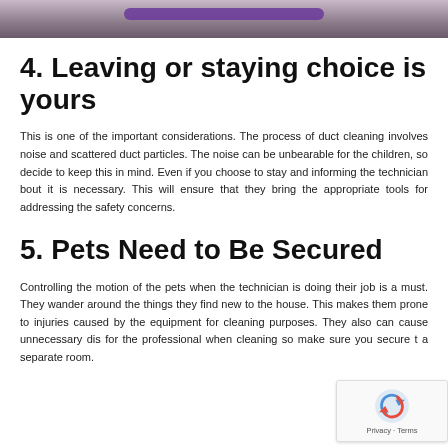[Figure (photo): Top portion of a photo showing a purple hose or tube on a tiled floor, partially cropped]
4. Leaving or staying choice is yours
This is one of the important considerations. The process of duct cleaning involves noise and scattered duct particles. The noise can be unbearable for the children, so decide to keep this in mind. Even if you choose to stay and informing the technician bout it is necessary. This will ensure that they bring the appropriate tools for addressing the safety concerns.
5. Pets Need to Be Secured
Controlling the motion of the pets when the technician is doing their job is a must. They wander around the things they find new to the house. This makes them prone to injuries caused by the equipment for cleaning purposes. They also can cause unnecessary dis for the professional when cleaning so make sure you secure t a separate room.